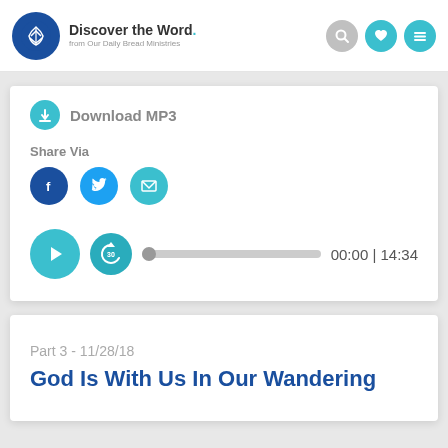[Figure (screenshot): Discover the Word website header logo with circular blue emblem and text 'Discover the Word. from Our Daily Bread Ministries', with search, heart, and menu icons on the right]
Download MP3
Share Via
[Figure (infographic): Social share icons: Facebook (dark blue circle), Twitter (light blue circle), Email (teal circle)]
[Figure (infographic): Audio player with play button (teal), replay 30s button (dark teal), progress bar with thumb, and time display showing 00:00 | 14:34]
Part 3 - 11/28/18
God Is With Us In Our Wandering